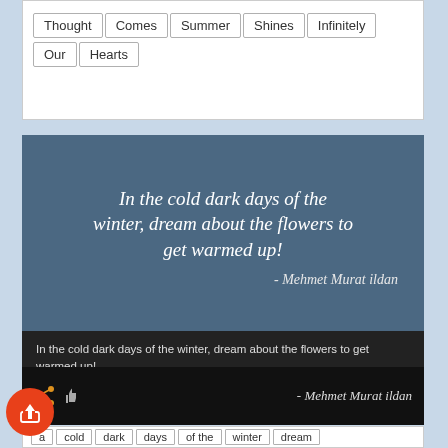Thought | Comes | Summer | Shines | Infinitely | Our | Hearts
[Figure (screenshot): Quote card with blue background showing italic text: 'In the cold dark days of the winter, dream about the flowers to get warmed up!' attributed to Mehmet Murat ildan, with a dark section repeating the quote text, and a black bottom bar with share/like icons and the author name.]
In the cold dark days of the winter, dream about the flowers to get warmed up!
- Mehmet Murat ildan